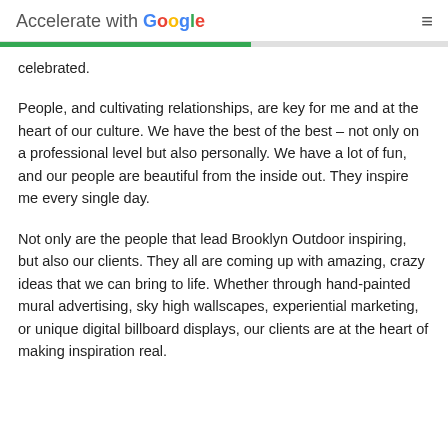Accelerate with Google
celebrated.
People, and cultivating relationships, are key for me and at the heart of our culture. We have the best of the best – not only on a professional level but also personally. We have a lot of fun, and our people are beautiful from the inside out. They inspire me every single day.
Not only are the people that lead Brooklyn Outdoor inspiring, but also our clients. They all are coming up with amazing, crazy ideas that we can bring to life. Whether through hand-painted mural advertising, sky high wallscapes, experiential marketing, or unique digital billboard displays, our clients are at the heart of making inspiration real.